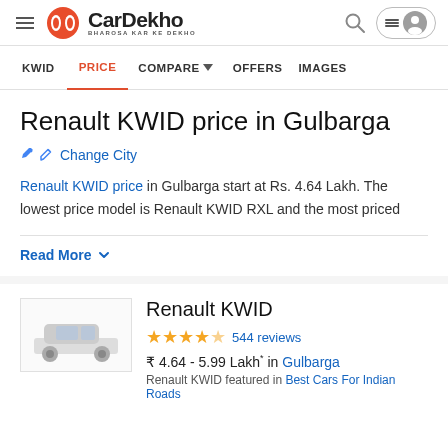CarDekho — BHAROSA KAR KE DEKHO
KWID | PRICE | COMPARE | OFFERS | IMAGES
Renault KWID price in Gulbarga
Change City
Renault KWID price in Gulbarga start at Rs. 4.64 Lakh. The lowest price model is Renault KWID RXL and the most priced
Read More
Renault KWID
★★★★½ 544 reviews
₹ 4.64 - 5.99 Lakh* in Gulbarga
Renault KWID featured in Best Cars For Indian Roads